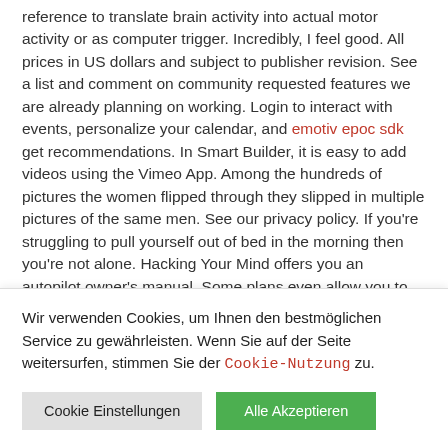reference to translate brain activity into actual motor activity or as computer trigger. Incredibly, I feel good. All prices in US dollars and subject to publisher revision. See a list and comment on community requested features we are already planning on working. Login to interact with events, personalize your calendar, and emotiv epoc sdk get recommendations. In Smart Builder, it is easy to add videos using the Vimeo App. Among the hundreds of pictures the women flipped through they slipped in multiple pictures of the same men. See our privacy policy. If you're struggling to pull yourself out of bed in the morning then you're not alone. Hacking Your Mind offers you an autopilot owner's manual. Some plans even allow you to add custom message cards and calls to action within your player a perfect feature for virtual fundraising. Report:Flag as inappropriate. The fundraising...
Wir verwenden Cookies, um Ihnen den bestmöglichen Service zu gewährleisten. Wenn Sie auf der Seite weitersurfen, stimmen Sie der Cookie-Nutzung zu.
Cookie Einstellungen
Alle Akzeptieren